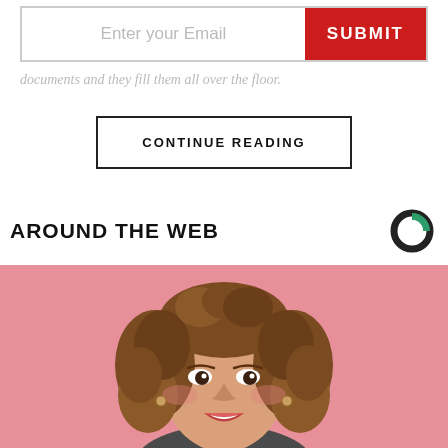[Figure (screenshot): Email input bar with placeholder 'Enter your Email' and a red SUBMIT button]
documents and they fill them all over the floor.
CONTINUE READING
AROUND THE WEB
[Figure (photo): Smiling woman with curly hair on pink background]